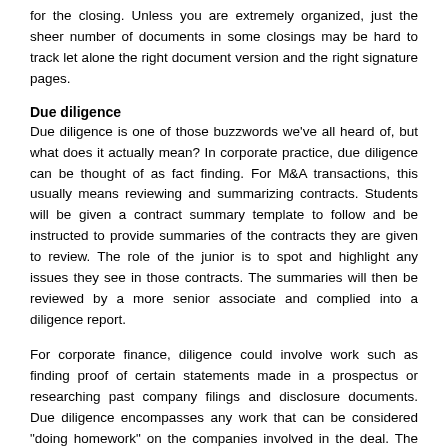for the closing. Unless you are extremely organized, just the sheer number of documents in some closings may be hard to track let alone the right document version and the right signature pages.
Due diligence
Due diligence is one of those buzzwords we've all heard of, but what does it actually mean? In corporate practice, due diligence can be thought of as fact finding. For M&A transactions, this usually means reviewing and summarizing contracts. Students will be given a contract summary template to follow and be instructed to provide summaries of the contracts they are given to review. The role of the junior is to spot and highlight any issues they see in those contracts. The summaries will then be reviewed by a more senior associate and complied into a diligence report.
For corporate finance, diligence could involve work such as finding proof of certain statements made in a prospectus or researching past company filings and disclosure documents. Due diligence encompasses any work that can be considered "doing homework" on the companies involved in the deal. The goal of diligence is to help the client find out as much